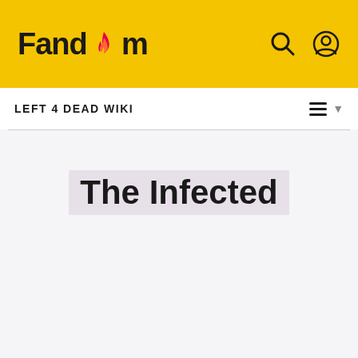Fandom
LEFT 4 DEAD WIKI
The Infected